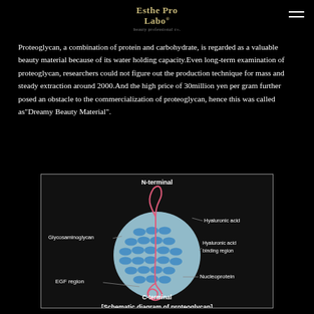Esthe Pro Labo
Proteoglycan, a combination of protein and carbohydrate, is regarded as a valuable beauty material because of its water holding capacity. Even long-term examination of proteoglycan, researchers could not figure out the production technique for mass and steady extraction around 2000. And the high price of 30million yen per gram further posed an obstacle to the commercialization of proteoglycan, hence this was called as“Dreamy Beauty Material”.
[Figure (schematic): Schematic diagram of proteoglycan showing N-terminal, C-terminal, Glycosaminoglycan, Hyaluronic acid, Hyaluronic acid binding region, Nucleoprotein, and EGF region labels on a stylized spherical molecular diagram with a pink loop protein strand and blue oval structures on a light blue sphere.]